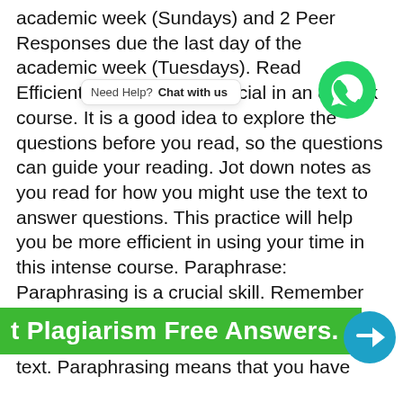academic week (Sundays) and 2 Peer Responses due the last day of the academic week (Tuesdays). Read Efficiently: Efficiency is crucial in an 8 week course. It is a good idea to explore the questions before you read, so the questions can guide your reading. Jot down notes as you read for how you might use the text to answer questions. This practice will help you be more efficient in using your time in this intense course. Paraphrase: Paraphrasing is a crucial skill. Remember that paraphrasing is more than changing a few words or the order of the words from the text. Paraphrasing means that you have comprehend it and you explain its meaning to your reader in your own words. It
[Figure (other): WhatsApp chat bubble with text 'Need Help? Chat with us' and green WhatsApp icon]
[Figure (other): Green banner at the bottom reading 'Get Plagiarism Free Answers.' with a Telegram icon button]